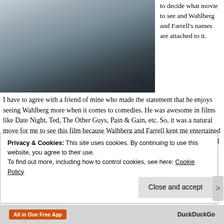[Figure (photo): Shirtless man from torso up, wearing dark shorts, standing in front of a door/interior background]
to decide what movie to see and Wahlberg and Farrell's names are attached to it. I have to agree with a friend of mine who made the statement that he enjoys seeing Wahlberg more when it comes to comedies. He was awesome in films like Date Night, Ted, The Other Guys, Pain & Gain, etc. So, it was a natural move for me to see this film because Walhberg and Farrell kept me entertained and laughing throughout the whole film. You add in the combo of the kids and Hannibal Buress as a handy man that moves in unexpectedly and you have a great combo that didn't disappoint. You also cannot forget the addition of physical comedy which was plenty and awesome in the movie. Of course, it was great to see
Privacy & Cookies: This site uses cookies. By continuing to use this website, you agree to their use.
To find out more, including how to control cookies, see here: Cookie Policy
Close and accept